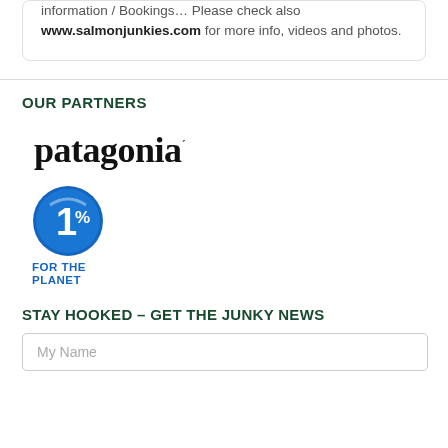information / Bookings… Please check also www.salmonjunkies.com for more info, videos and photos.
OUR PARTNERS
[Figure (logo): Patagonia brand logo in bold serif font]
[Figure (logo): 1% for the Planet logo — blue circle with '1%' and text 'FOR THE PLANET' below]
STAY HOOKED – GET THE JUNKY NEWS
My Name